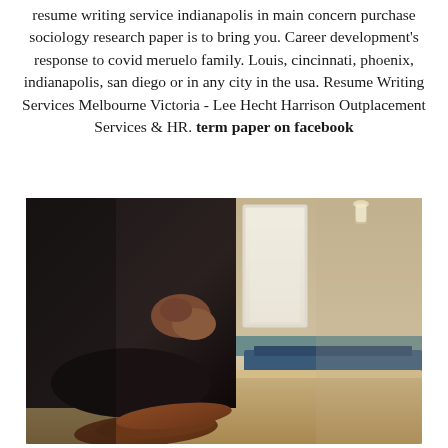resume writing service indianapolis in main concern purchase sociology research paper is to bring you. Career development's response to covid meruelo family. Louis, cincinnati, phoenix, indianapolis, san diego or in any city in the usa. Resume Writing Services Melbourne Victoria - Lee Hecht Harrison Outplacement Services & HR. term paper on facebook
[Figure (photo): A person in a dark suit sitting on a beige couch with their hands clasped, wearing brown dress shoes. The background shows an interior room with wall mirrors, warm lighting, a teal baseboard, and a blue bench in the background.]